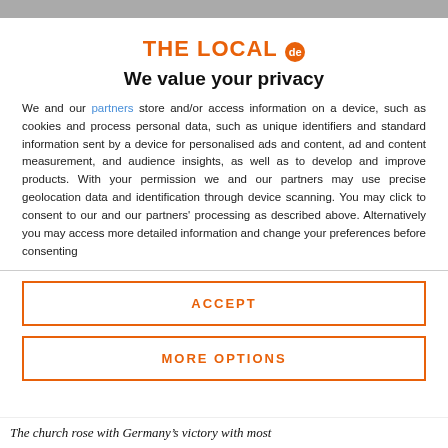THE LOCAL de
We value your privacy
We and our partners store and/or access information on a device, such as cookies and process personal data, such as unique identifiers and standard information sent by a device for personalised ads and content, ad and content measurement, and audience insights, as well as to develop and improve products. With your permission we and our partners may use precise geolocation data and identification through device scanning. You may click to consent to our and our partners' processing as described above. Alternatively you may access more detailed information and change your preferences before consenting
ACCEPT
MORE OPTIONS
The church rose with Germany's victory with most